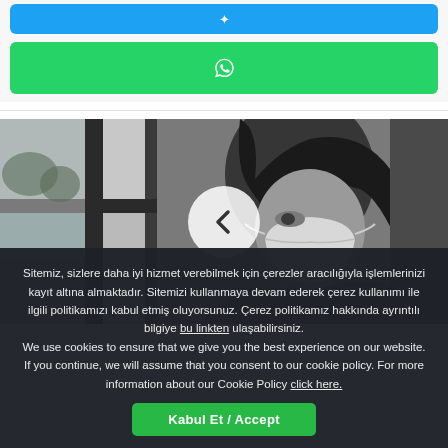[Figure (other): Blue social media share button (Twitter/social icon)]
[Figure (other): Green WhatsApp share button with WhatsApp logo icon]
[Figure (photo): Black and white photo of a child wearing a face mask looking out a window, with a left-arrow navigation button overlay]
Sitemiz, sizlere daha iyi hizmet verebilmek için çerezler aracılığıyla işlemlerinizi kayıt altına almaktadır. Sitemizi kullanmaya devam ederek çerez kullanımı ile ilgili politikamızı kabul etmiş oluyorsunuz. Çerez politikamız hakkında ayrıntılı bilgiye bu linkten ulaşabilirsiniz. We use cookies to ensure that we give you the best experience on our website. If you continue, we will assume that you consent to our cookie policy. For more information about our Cookie Policy click here.
Kabul Et / Accept